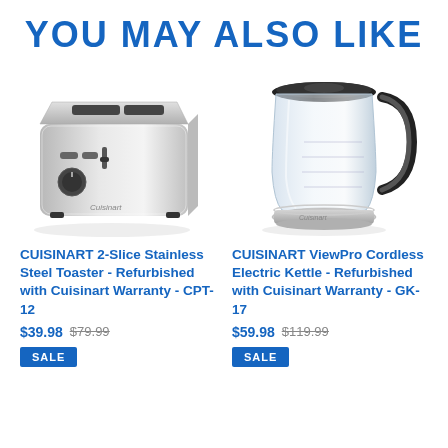YOU MAY ALSO LIKE
[Figure (photo): Cuisinart 2-slice stainless steel toaster, silver metallic finish with black dial and slots on top]
[Figure (photo): Cuisinart ViewPro cordless electric glass kettle with black handle and stainless steel base]
CUISINART 2-Slice Stainless Steel Toaster - Refurbished with Cuisinart Warranty - CPT-12
$39.98  $79.99
SALE
CUISINART ViewPro Cordless Electric Kettle - Refurbished with Cuisinart Warranty - GK-17
$59.98  $119.99
SALE